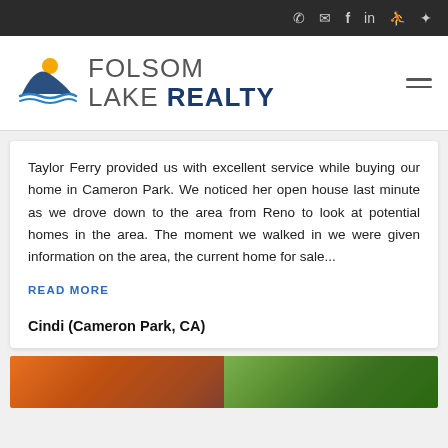Folsom Lake Realty - navigation bar with phone, email, facebook, linkedin, and other social icons
[Figure (logo): Folsom Lake Realty logo with mountain/lake graphic and text FOLSOM LAKE REALTY]
Taylor Ferry provided us with excellent service while buying our home in Cameron Park. We noticed her open house last minute as we drove down to the area from Reno to look at potential homes in the area. The moment we walked in we were given information on the area, the current home for sale...
READ MORE
Cindi (Cameron Park, CA)
[Figure (photo): Two partial images at bottom of page - left appears to be a warm-toned landscape/home photo, right appears to be a green foliage/plant photo]